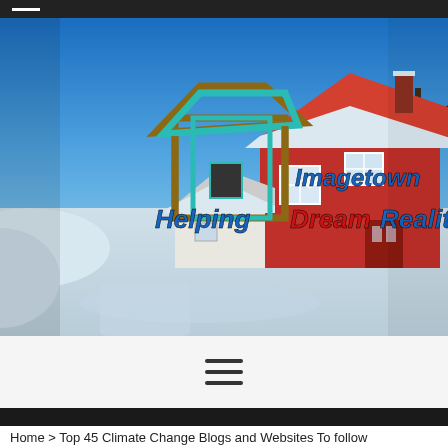[Figure (photo): Snowy winter scene with a red Scandinavian house and a house illustration logo overlay. Text reads 'Imagetown' and 'Helping Dream Reality' in blue and red bold italic font.]
[Figure (logo): Navigation menu hamburger icon (three horizontal lines)]
Home > Top 45 Climate Change Blogs and Websites To follow